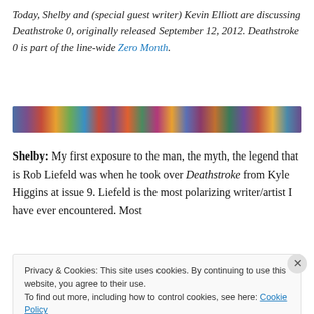Today, Shelby and (special guest writer) Kevin Elliott are discussing Deathstroke 0, originally released September 12, 2012. Deathstroke 0 is part of the line-wide Zero Month.
[Figure (illustration): A horizontal banner strip showing colorful comic book cover art collage.]
Shelby: My first exposure to the man, the myth, the legend that is Rob Liefeld was when he took over Deathstroke from Kyle Higgins at issue 9. Liefeld is the most polarizing writer/artist I have ever encountered. Most
Privacy & Cookies: This site uses cookies. By continuing to use this website, you agree to their use. To find out more, including how to control cookies, see here: Cookie Policy Close and accept